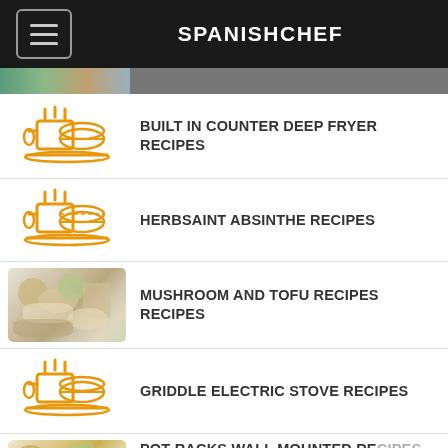SPANISHCHEF
[Figure (illustration): Partial food image strip at top]
BUILT IN COUNTER DEEP FRYER RECIPES
HERBSAINT ABSINTHE RECIPES
MUSHROOM AND TOFU RECIPES RECIPES
GRIDDLE ELECTRIC STOVE RECIPES
POT RACKS WALL MOUNTED RECIPES